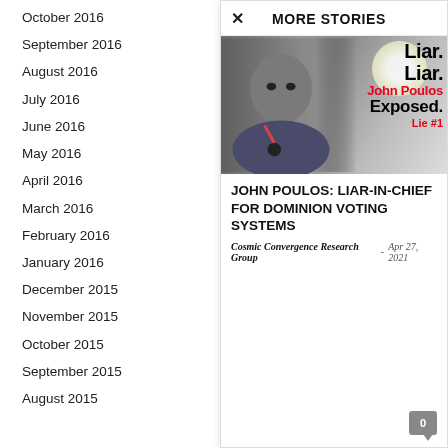October 2016
September 2016
August 2016
July 2016
June 2016
May 2016
April 2016
March 2016
February 2016
January 2016
December 2015
November 2015
October 2015
September 2015
August 2015
MORE STORIES
[Figure (photo): Photo of John Poulos with overlaid text: Liar. Liar. John Poulos Exposed. Lie #1]
JOHN POULOS: LIAR-IN-CHIEF FOR DOMINION VOTING SYSTEMS
Cosmic Convergence Research Group - Apr 27, 2021